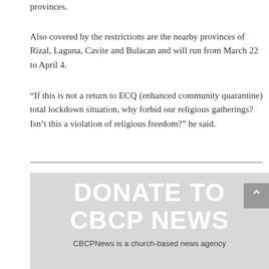provinces.
Also covered by the restrictions are the nearby provinces of Rizal, Laguna, Cavite and Bulacan and will run from March 22 to April 4.
“If this is not a return to ECQ (enhanced community quarantine) total lockdown situation, why forbid our religious gatherings? Isn’t this a violation of religious freedom?” he said.
[Figure (other): DONATE TO CBCP NEWS donation banner with tagline 'CBCPNews is a church-based news agency']